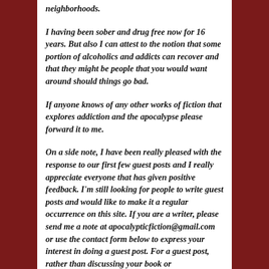neighborhoods.
I having been sober and drug free now for 16 years. But also I can attest to the notion that some portion of alcoholics and addicts can recover and that they might be people that you would want around should things go bad.
If anyone knows of any other works of fiction that explores addiction and the apocalypse please forward it to me.
On a side note, I have been really pleased with the response to our first few guest posts and I really appreciate everyone that has given positive feedback. I'm still looking for people to write guest posts and would like to make it a regular occurrence on this site. If you are a writer, please send me a note at apocalypticfiction@gmail.com or use the contact form below to express your interest in doing a guest post. For a guest post, rather than discussing your book or